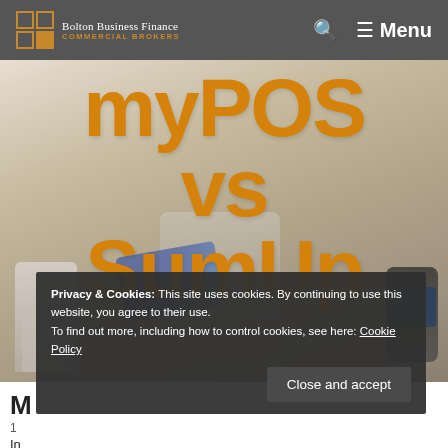Bolton Business Finance — COMMERCIAL BROKERS — Menu
[Figure (photo): Hero banner photo showing hands holding a credit card at a payment terminal card machine, with another card reader on the left and a smartphone POS device on the right. Large orange bold text overlay reads 'myPOS vs SumUp'.]
myPOS vs SumUp
Privacy & Cookies: This site uses cookies. By continuing to use this website, you agree to their use. To find out more, including how to control cookies, see here: Cookie Policy
Close and accept
M
1
In
MyPOS card machines, designed for small